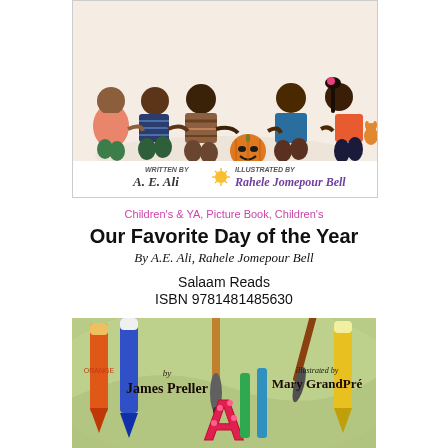[Figure (illustration): Children's book cover showing children sitting in a circle holding hands, with a pumpkin. Written by A. E. Ali, illustrated by Rahele Jomepour Bell.]
Children's & YA, Picture Book, Children's
Our Favorite Day of the Year
By A.E. Ali, Rahele Jomepour Bell
Salaam Reads
ISBN 9781481485630
[Figure (illustration): Children's book cover showing crayons and art supplies on a green background. By James Preller, illustrated by Mary GrandPré, with a large letter A.]